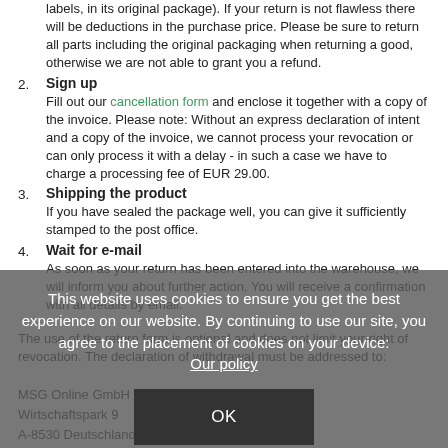labels, in its original package). If your return is not flawless there will be deductions in the purchase price. Please be sure to return all parts including the original packaging when returning a good, otherwise we are not able to grant you a refund.
Sign up — Fill out our cancellation form and enclose it together with a copy of the invoice. Please note: Without an express declaration of intent and a copy of the invoice, we cannot process your revocation or can only process it with a delay - in such a case we have to charge a processing fee of EUR 29.00.
Shipping the product — If you have sealed the package well, you can give it sufficiently stamped to the post office.
Wait for e-mail — As soon as your return has been entered into the warehouse, we will inform you about further action. You will receive a confirmation with all details by email.
The use of the return form is optional and does not limit your right of revocation. The declaration of withdrawal must be addressed to:
MSG Online GmbH
Wirtschaftspark 9
A-8530 Deutschlandsberg
This website uses cookies to ensure you get the best experience on our website. By continuing to use our site, you agree to the placement of cookies on your device: Our policy